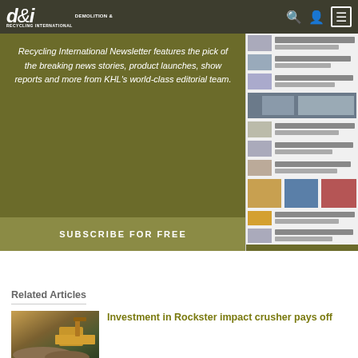d&ri Demolition & Recycling International
Recycling International Newsletter features the pick of the breaking news stories, product launches, show reports and more from KHL's world-class editorial team.
SUBSCRIBE FOR FREE
[Figure (screenshot): Sidebar showing thumbnails of related news articles and advertisements for Demolition & Recycling International]
Related Articles
[Figure (photo): Yellow excavator working at a demolition/crushing site with rubble and machinery]
Investment in Rockster impact crusher pays off